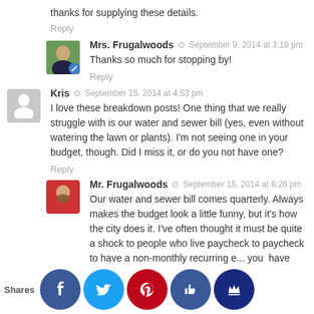thanks for supplying these details.
Reply
Mrs. Frugalwoods  September 9, 2014 at 3:10 pm
Thanks so much for stopping by!
Reply
Kris  September 15, 2014 at 4:53 pm
I love these breakdown posts! One thing that we really struggle with is our water and sewer bill (yes, even without watering the lawn or plants). I'm not seeing one in your budget, though. Did I miss it, or do you not have one?
Reply
Mr. Frugalwoods  September 15, 2014 at 6:26 pm
Our water and sewer bill comes quarterly. Always makes the budget look a little funny, but it's how the city does it. I've often thought it must be quite a shock to people who live paycheck to paycheck to have a non-monthly recurring e... you have to ber it's way!
Shares